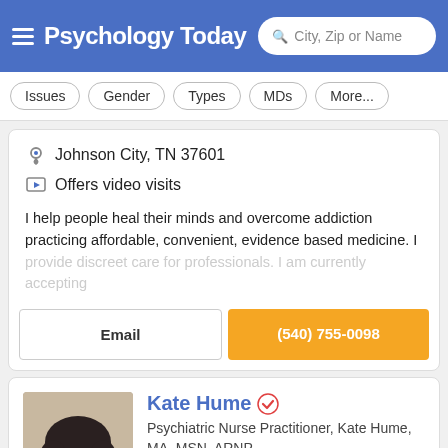Psychology Today — City, Zip or Name search
Issues
Gender
Types
MDs
More...
Johnson City, TN 37601
Offers video visits
I help people heal their minds and overcome addiction practicing affordable, convenient, evidence based medicine. I provide discreet care for professionals. I am currently accepting
Email
(540) 755-0098
[Figure (photo): Portrait photo of Kate Hume, a woman with dark curly hair, smiling]
Kate Hume
Psychiatric Nurse Practitioner, Kate Hume, MA, MSN, ARNP
Knoxville, TN 37918
Offers video visits